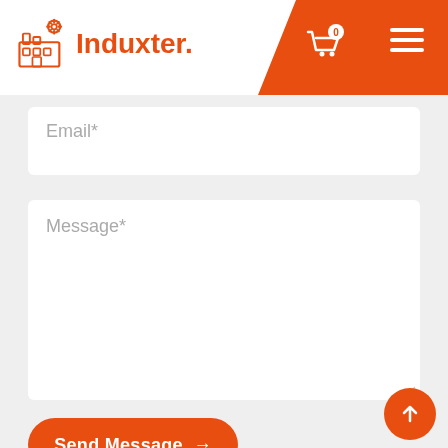Induxter. [logo with cart icon showing 0, and hamburger menu]
Email*
Message*
Send Message →